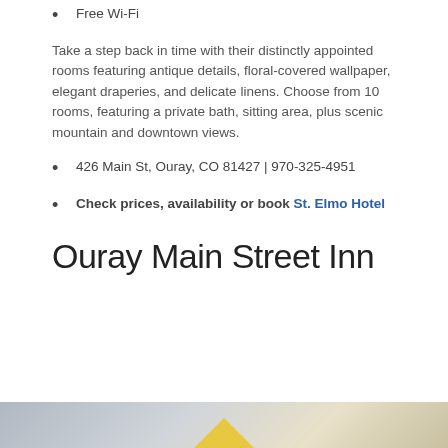Free Wi-Fi
Take a step back in time with their distinctly appointed rooms featuring antique details, floral-covered wallpaper, elegant draperies, and delicate linens. Choose from 10 rooms, featuring a private bath, sitting area, plus scenic mountain and downtown views.
426 Main St, Ouray, CO 81427 | 970-325-4951
Check prices, availability or book St. Elmo Hotel
Ouray Main Street Inn
[Figure (photo): Photo of Ouray Main Street Inn exterior, partially visible at bottom of page]